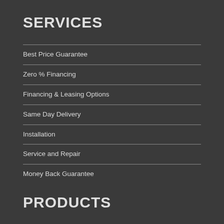SERVICES
Best Price Guarantee
Zero % Financing
Financing & Leasing Options
Same Day Delivery
Installation
Service and Repair
Money Back Guarantee
PRODUCTS